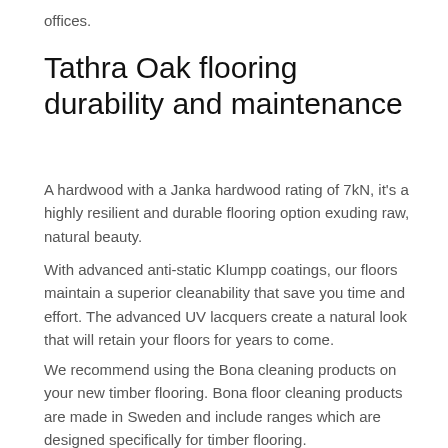offices.
Tathra Oak flooring durability and maintenance
A hardwood with a Janka hardwood rating of 7kN, it's a highly resilient and durable flooring option exuding raw, natural beauty.
With advanced anti-static Klumpp coatings, our floors maintain a superior cleanability that save you time and effort.  The advanced UV lacquers create a natural look that will retain your floors for years to come.
We recommend using the Bona cleaning products on your new timber flooring.  Bona floor cleaning products are made in Sweden and include ranges which are designed specifically for timber flooring.